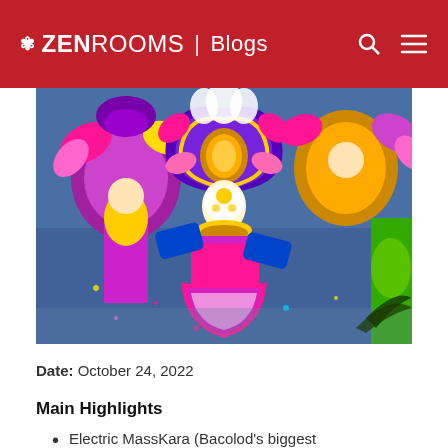ZEN ROOMS | Blogs
[Figure (photo): Colorful festival performers in elaborate costumes with large feathered headdresses in purple, gold, pink, and green at the MassKara Festival in Bacolod, Philippines. The main dancer in the center wears a golden mask and bright pink and purple costume.]
Date: October 24, 2022
Main Highlights
Electric MassKara (Bacolod's biggest